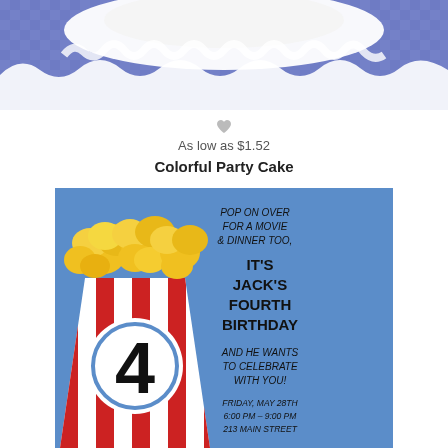[Figure (photo): Top portion of a colorful party cake invitation card with purple/blue checkered background and white ruffled edge, partially cropped]
[Figure (other): Small gray heart icon]
As low as $1.52
Colorful Party Cake
[Figure (illustration): Birthday party invitation card with blue background featuring a popcorn box with red and white stripes, yellow popcorn, a circle with the number 4, and text reading: POP ON OVER FOR A MOVIE & DINNER TOO, IT'S JACK'S FOURTH BIRTHDAY, AND HE WANTS TO CELEBRATE WITH YOU! FRIDAY MAY 28TH 6:00 PM - 9:00 PM 213 MAIN STREET]